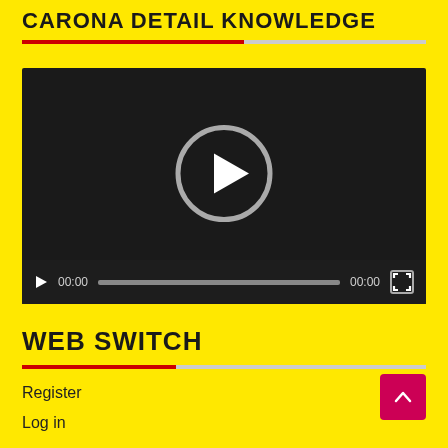CARONA DETAIL KNOWLEDGE
[Figure (screenshot): Video player with dark background, centered circular play button, and bottom control bar showing play button, 00:00 timecode, progress bar, 00:00 duration, and fullscreen icon]
WEB SWITCH
Register
Log in